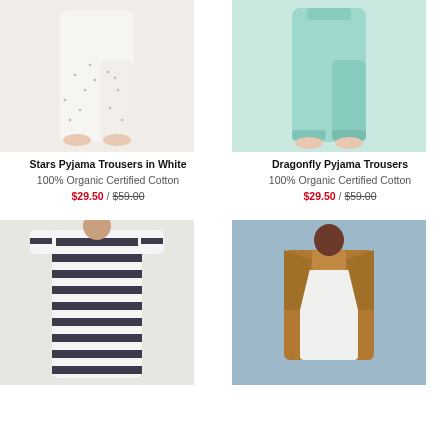[Figure (photo): Woman's legs wearing white pyjama trousers with small stars/dot pattern]
[Figure (photo): Woman's legs wearing light mint/teal pyjama trousers, tied at waist]
Stars Pyjama Trousers in White
100% Organic Certified Cotton
$29.50 / $59.00
Dragonfly Pyjama Trousers
100% Organic Certified Cotton
$29.50 / $59.00
[Figure (photo): Woman wearing a black and white horizontal striped short-sleeve dress]
[Figure (photo): Woman wearing a caramel/tan oversized jacket over a white outfit, blue background]